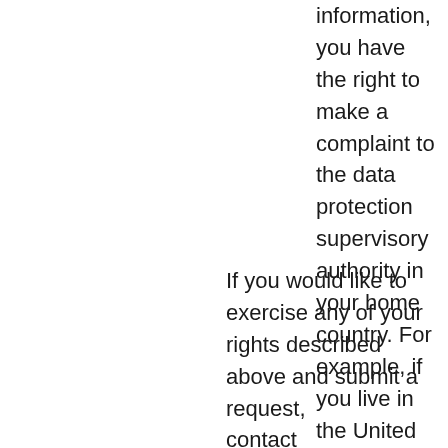information, you have the right to make a complaint to the data protection supervisory authority in your home country. For example, if you live in the United Kingdom, you would contact the Information Commissioner's Office.
If you would like to exercise any of your rights described above and submit a request, contact gdprdata@evernate.com. We will respond to all legitimate requests within one month. We may sometimes request additional information from you. Please note that we may not be able to fulfill your request under